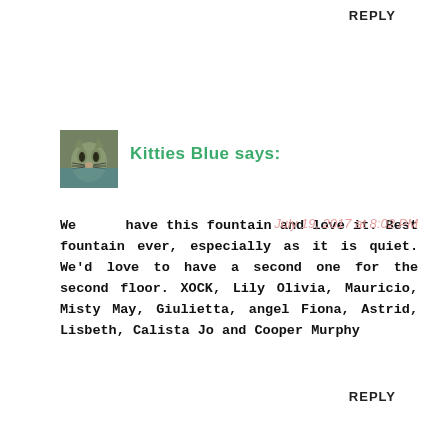REPLY
[Figure (photo): Small avatar photo of a cat, tabby colored, used as commenter profile picture]
Kitties Blue says:
July 19, 2017 at 8:02 PM
We have this fountain and love it. Best fountain ever, especially as it is quiet. We'd love to have a second one for the second floor. XOCK, Lily Olivia, Mauricio, Misty May, Giulietta, angel Fiona, Astrid, Lisbeth, Calista Jo and Cooper Murphy
REPLY